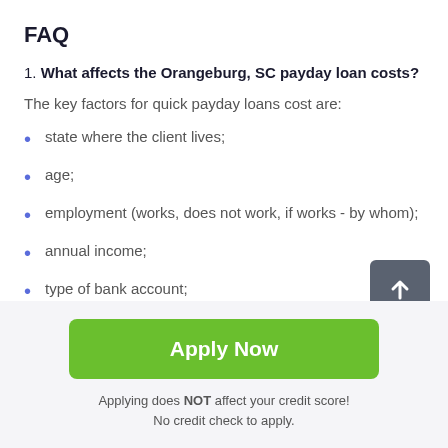FAQ
1. What affects the Orangeburg, SC payday loan costs?
The key factors for quick payday loans cost are:
state where the client lives;
age;
employment (works, does not work, if works - by whom);
annual income;
type of bank account;
availability of credit history;
Apply Now
Applying does NOT affect your credit score!
No credit check to apply.